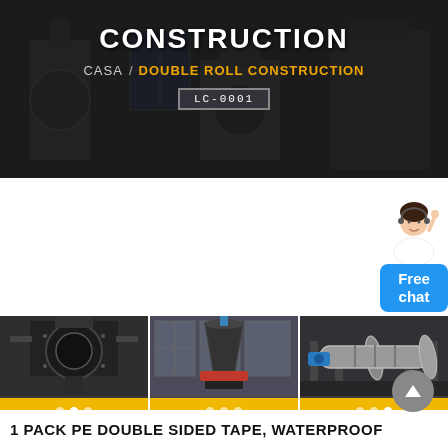CONSTRUCTION
CASA / DOUBLE ROLL CONSTRUCTION
[Figure (photo): Dark banner background showing industrial machinery in a workshop setting]
[Figure (photo): Free chat customer service widget with avatar and blue button]
[Figure (photo): Three-panel image strip showing industrial machinery: left panel shows large industrial machine, center panel shows cone crusher with red base, right panel shows rotary drum/cylinder machinery]
1 PACK PE DOUBLE SIDED TAPE, WATERPROOF